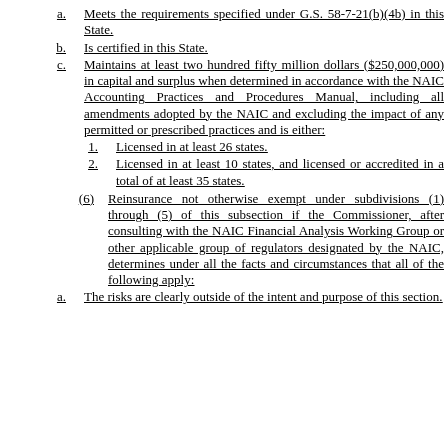a. Meets the requirements specified under G.S. 58-7-21(b)(4b) in this State.
b. Is certified in this State.
c. Maintains at least two hundred fifty million dollars ($250,000,000) in capital and surplus when determined in accordance with the NAIC Accounting Practices and Procedures Manual, including all amendments adopted by the NAIC and excluding the impact of any permitted or prescribed practices and is either:
1. Licensed in at least 26 states.
2. Licensed in at least 10 states, and licensed or accredited in a total of at least 35 states.
(6) Reinsurance not otherwise exempt under subdivisions (1) through (5) of this subsection if the Commissioner, after consulting with the NAIC Financial Analysis Working Group or other applicable group of regulators designated by the NAIC, determines under all the facts and circumstances that all of the following apply:
a. The risks are clearly outside of the intent and purpose of this section.